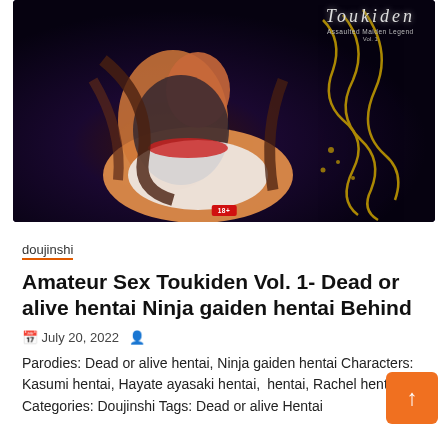[Figure (illustration): Cover art for Toukiden Vol. 1 doujinshi — anime-style illustration on dark background with decorative gold swirl designs and a rating badge]
doujinshi
Amateur Sex Toukiden Vol. 1- Dead or alive hentai Ninja gaiden hentai Behind
July 20, 2022
Parodies: Dead or alive hentai, Ninja gaiden hentai Characters: Kasumi hentai, Hayate ayasaki hentai, i hentai, Rachel hentai Categories: Doujinshi Tags: Dead or alive Hentai